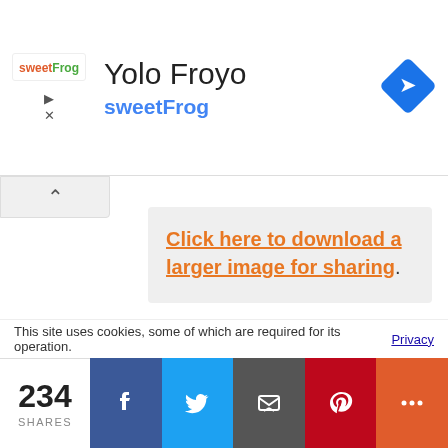[Figure (logo): sweetFrog yogurt advertisement banner with 'Yolo Froyo' title, sweetFrog subtitle in blue, and a blue navigation diamond icon on the right]
Click here to download a larger image for sharing.
Ziggy is a male blue mitted Ragdoll with a beautiful blaze. He's from the UK (where there are lots of cat loving people!) and lives with a sisfur named Boudica.
Ziggy was named after Ziggy Stardust, and
This site uses cookies, some of which are required for its operation. Privacy